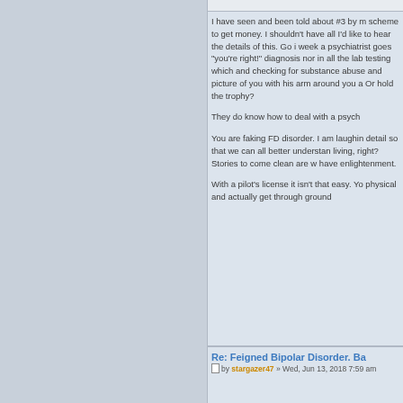I have seen and been told about #3 by many people as a scheme to get money. I shouldn't have all I'd like to hear the details of this. Go in one week a psychiatrist goes "you're right!" diagnosis nor in all the lab testing which and checking for substance abuse and picture of you with his arm around you a Or hold the trophy?

They do know how to deal with a psych

You are faking FD disorder. I am laughing detail so that we can all better understand living, right? Stories to come clean are w have enlightenment.

With a pilot's license it isn't that easy. You physical and actually get through groun
Re: Feigned Bipolar Disorder. Ba
by stargazer47 » Wed, Jun 13, 2018 7:59 am